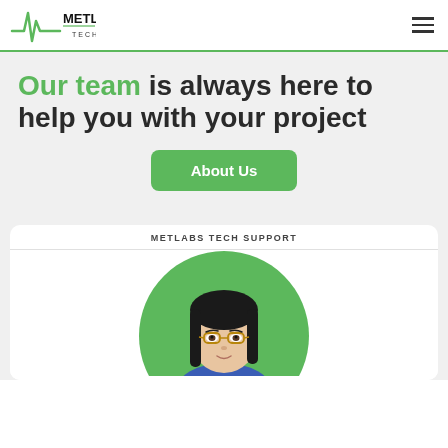[Figure (logo): Metlabs Tech logo with green ECG/heartbeat waveform and bold black text METLABS above TECH]
Our team is always here to help you with your project
About Us
METLABS TECH SUPPORT
[Figure (illustration): Illustrated avatar of a woman with dark hair, glasses, in a blue top, set inside a green circle background]